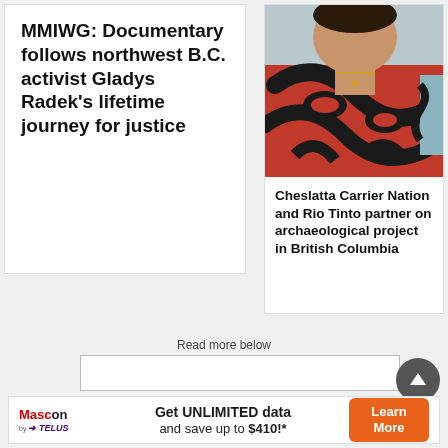MMIWG: Documentary follows northwest B.C. activist Gladys Radek's lifetime journey for justice
[Figure (photo): Photo of a person wearing Indigenous Northwest Coast artistic clothing with red and black formline designs]
Cheslatta Carrier Nation and Rio Tinto partner on archaeological project in British Columbia
Read more below
[Figure (other): Advertisement: Mascon by TELUS — Get UNLIMITED data and save up to $410!* Learn More button]